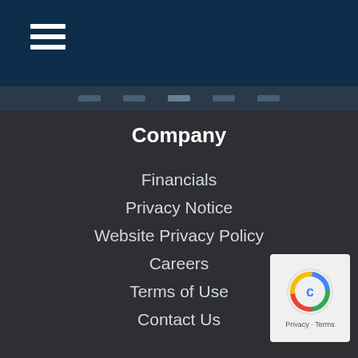Navigation header with hamburger menu
Company
Financials
Privacy Notice
Website Privacy Policy
Careers
Terms of Use
Contact Us
Resources
Confirm Policy Receipt